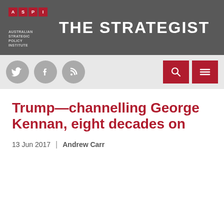THE STRATEGIST — ASPI Australian Strategic Policy Institute
Trump—channelling George Kennan, eight decades on
13 Jun 2017 | Andrew Carr